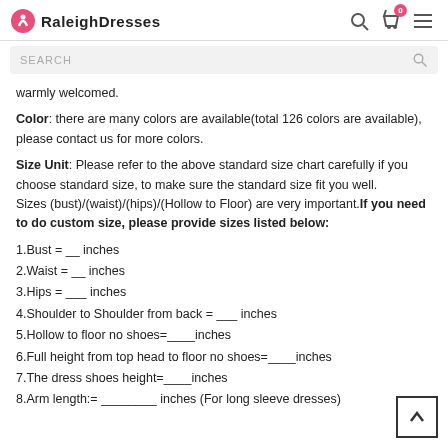RaleighDresses
warmly welcomed.
Color: there are many colors are available(total 126 colors are available), please contact us for more colors.
Size Unit: Please refer to the above standard size chart carefully if you choose standard size, to make sure the standard size fit you well.
Sizes (bust)/(waist)/(hips)/(Hollow to Floor) are very important.If you need to do custom size, please provide sizes listed below:
1.Bust = __ inches
2.Waist = __ inches
3.Hips = ___ inches
4.Shoulder to Shoulder from back = ___ inches
5.Hollow to floor no shoes=____inches
6.Full height from top head to floor no shoes=____inches
7.The dress shoes height=____inches
8.Arm length:= ________ inches (For long sleeve dresses)